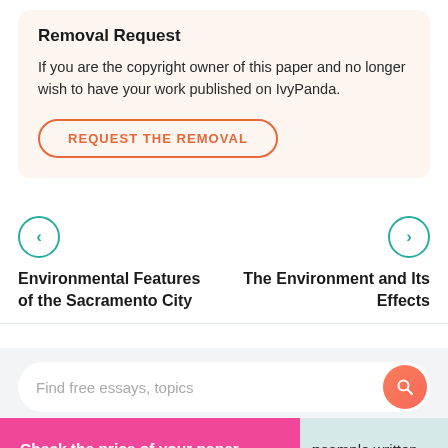Removal Request
If you are the copyright owner of this paper and no longer wish to have your work published on IvyPanda.
REQUEST THE REMOVAL
Environmental Features of the Sacramento City
The Environment and Its Effects
Find free essays, topics
Check the price of your paper
n sample written